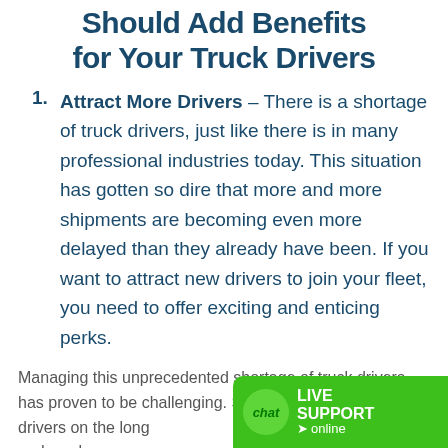Should Add Benefits for Your Truck Drivers
Attract More Drivers – There is a shortage of truck drivers, just like there is in many professional industries today. This situation has gotten so dire that more and more shipments are becoming even more delayed than they already have been. If you want to attract new drivers to join your fleet, you need to offer exciting and enticing perks.
Managing this unprecedented shortage of truck drivers has proven to be challenging. Some blame the lack of drivers on the long countless days and weeks spe…